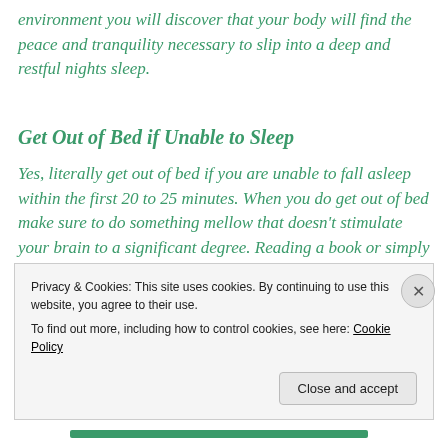environment you will discover that your body will find the peace and tranquility necessary to slip into a deep and restful nights sleep.
Get Out of Bed if Unable to Sleep
Yes, literally get out of bed if you are unable to fall asleep within the first 20 to 25 minutes. When you do get out of bed make sure to do something mellow that doesn't stimulate your brain to a significant degree. Reading a book or simply undertaking a boring task or activity that
Privacy & Cookies: This site uses cookies. By continuing to use this website, you agree to their use.
To find out more, including how to control cookies, see here: Cookie Policy